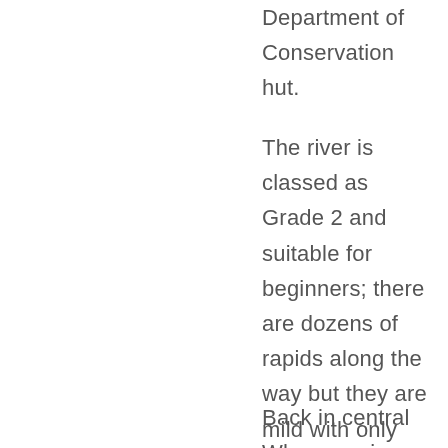Department of Conservation hut.
The river is classed as Grade 2 and suitable for beginners; there are dozens of rapids along the way but they are mild with only gentle drops. You can also catch rainbow and brown trout in the river. Jet boats operate to both ends of the river and are a great option for day trips.
Back in central Whanganui on